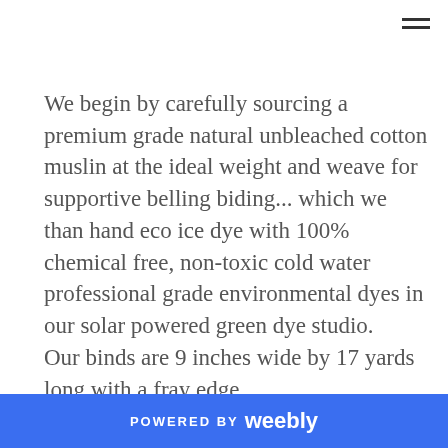We begin by carefully sourcing a premium grade natural unbleached cotton muslin at the ideal weight and weave for supportive belling biding... which we than hand eco ice dye with 100% chemical free, non-toxic cold water professional grade environmental dyes in our solar powered green dye studio.
Our binds are 9 inches wide by 17 yards long with a fray edge.
Our designs and colors are inspired by earths crystals. We believe by using the colors of the crystals, and acknowledging the properties the crystals posses, those whom wear the bind manifest
POWERED BY weebly